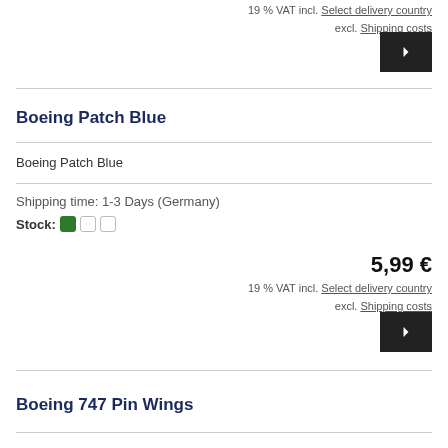19 % VAT incl. Select delivery country excl. Shipping costs
Boeing Patch Blue
Boeing Patch Blue
Shipping time: 1-3 Days (Germany)
Stock:
5,99 €
19 % VAT incl. Select delivery country excl. Shipping costs
Boeing 747 Pin Wings